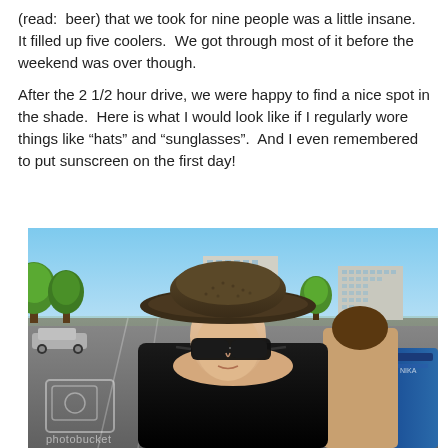(read:  beer) that we took for nine people was a little insane.  It filled up five coolers.  We got through most of it before the weekend was over though.
After the 2 1/2 hour drive, we were happy to find a nice spot in the shade.  Here is what I would look like if I regularly wore things like “hats” and “sunglasses”.  And I even remembered to put sunscreen on the first day!
[Figure (photo): A woman wearing a wide-brimmed dark hat and large sunglasses sitting outdoors in a parking lot, with trees and tall buildings in the background, and another person partially visible behind her. A Photobucket watermark is visible on the photo.]